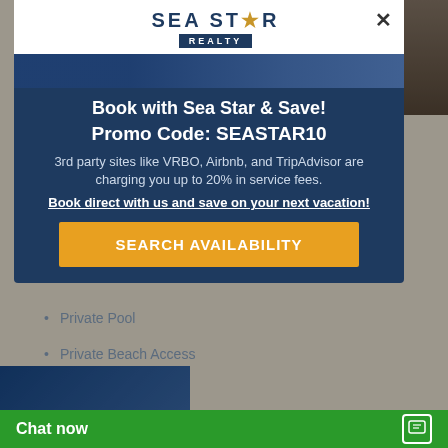[Figure (screenshot): Sea Star Realty logo with star graphic and 'REALTY' badge on white background]
Book with Sea Star & Save!
Promo Code: SEASTAR10
3rd party sites like VRBO, Airbnb, and TripAdvisor are charging you up to 20% in service fees.
Book direct with us and save on your next vacation!
SEARCH AVAILABILITY
Private Pool
Private Beach Access
Ocean Front
View Details
Beach Retreat
5 Bedrooms
5.5 Bathrooms
Ocean Front
Chat now